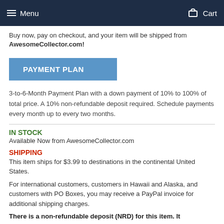Menu   Cart
Buy now, pay on checkout, and your item will be shipped from AwesomeCollector.com!
PAYMENT PLAN
3-to-6-Month Payment Plan with a down payment of 10% to 100% of total price. A 10% non-refundable deposit required. Schedule payments every month up to every two months.
IN STOCK
Available Now from AwesomeCollector.com
SHIPPING
This item ships for $3.99 to destinations in the continental United States.
For international customers, customers in Hawaii and Alaska, and customers with PO Boxes, you may receive a PayPal invoice for additional shipping charges.
There is a non-refundable deposit (NRD) for this item. It